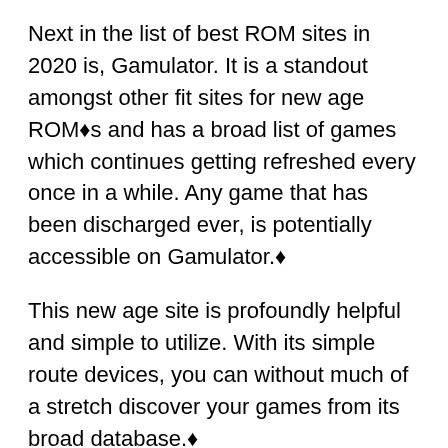Next in the list of best ROM sites in 2020 is, Gamulator. It is a standout amongst other fit sites for new age ROM▦s and has a broad list of games which continues getting refreshed every once in a while. Any game that has been discharged ever, is potentially accessible on Gamulator.▦
This new age site is profoundly helpful and simple to utilize. With its simple route devices, you can without much of a stretch discover your games from its broad database.▦
Gamulator is a safe site and keeps you prepared for undesirable promotions and pop up notifications.▦